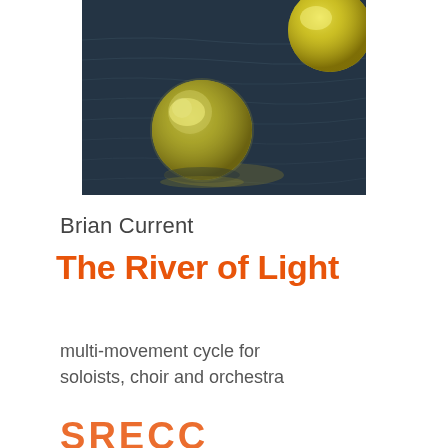[Figure (photo): Photograph of glowing yellow-green spherical lanterns floating on dark water with rippled reflections]
Brian Current
The River of Light
multi-movement cycle for soloists, choir and orchestra
SREES